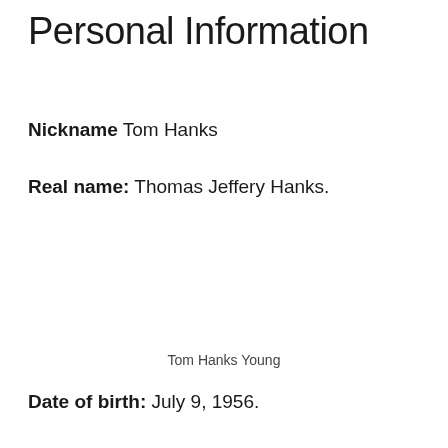Personal Information
Nickname Tom Hanks
Real name: Thomas Jeffery Hanks.
Tom Hanks Young
Date of birth: July 9, 1956.